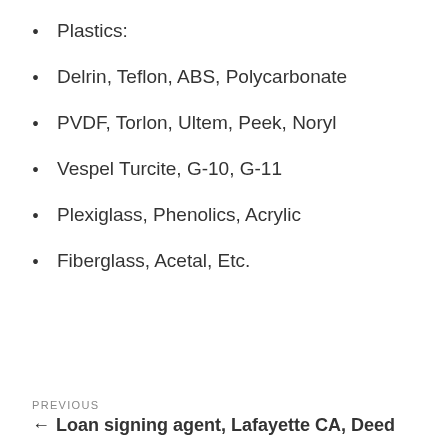Plastics:
Delrin, Teflon, ABS, Polycarbonate
PVDF, Torlon, Ultem, Peek, Noryl
Vespel Turcite, G-10, G-11
Plexiglass, Phenolics, Acrylic
Fiberglass, Acetal, Etc.
PREVIOUS
← Loan signing agent, Lafayette CA, Deed